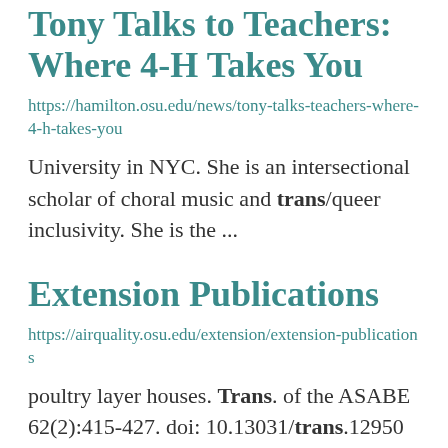Tony Talks to Teachers: Where 4-H Takes You
https://hamilton.osu.edu/news/tony-talks-teachers-where-4-h-takes-you
University in NYC. She is an intersectional scholar of choral music and trans/queer inclusivity. She is the ...
Extension Publications
https://airquality.osu.edu/extension/extension-publications
poultry layer houses. Trans. of the ASABE 62(2):415-427. doi: 10.13031/trans.12950 Duan, N., D. Zhang, C. ... Electrolyzed water spray scrubber for removing ammonia from air